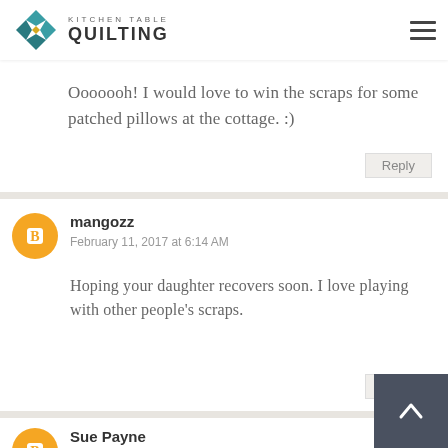[Figure (logo): Kitchen Table Quilting logo with geometric diamond/star icon in teal, dark teal, and gold, with text KITCHEN TABLE QUILTING]
Anonymous
26 AM
Ooooooh! I would love to win the scraps for some patched pillows at the cottage. :)
Reply
mangozz
February 11, 2017 at 6:14 AM
Hoping your daughter recovers soon. I love playing with other people's scraps.
Reply
Sue Payne
February 11, 2017 at 6:33 AM
I would love to use the scraps in the prayer quilts I